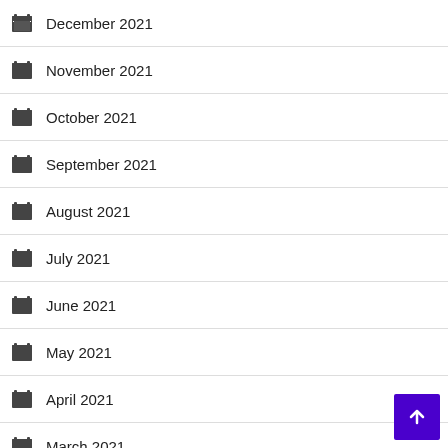December 2021
November 2021
October 2021
September 2021
August 2021
July 2021
June 2021
May 2021
April 2021
March 2021
February 2020
January 2020
November 2019